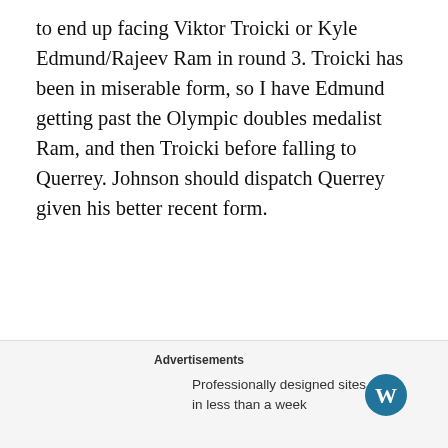to end up facing Viktor Troicki or Kyle Edmund/Rajeev Ram in round 3. Troicki has been in miserable form, so I have Edmund getting past the Olympic doubles medalist Ram, and then Troicki before falling to Querrey. Johnson should dispatch Querrey given his better recent form.
Embed from Getty Images
[Figure (photo): Tennis player in blue outfit hitting a backhand shot on an outdoor hard court with 'ern & uthern' visible on the court backdrop, wearing a white cap.]
Advertisements
Professionally designed sites in less than a week